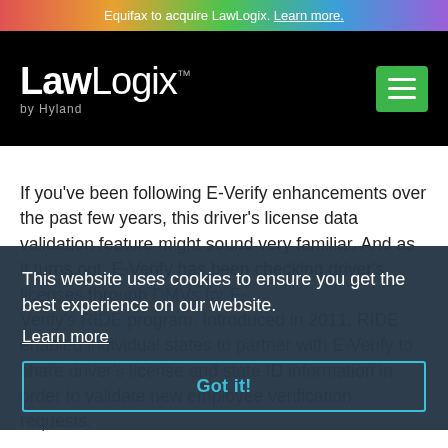Equifax to acquire LawLogix. Learn more.
[Figure (logo): LawLogix by Hyland logo in white on black background with green hamburger menu button]
If you've been following E-Verify enhancements over the past few years, this driver's license data validation feature might sound very familiar. And as it turns out, E-Verify has been checking driver's licenses through DMVs for E-Verify's RIDE program. Introduced in 2011, RIDE enabled individual states to partner with E-Verify to share driver's license and state ID information in order to validate new employee verification requests.
This website uses cookies to ensure you get the best experience on our website.
Learn more
Got it!